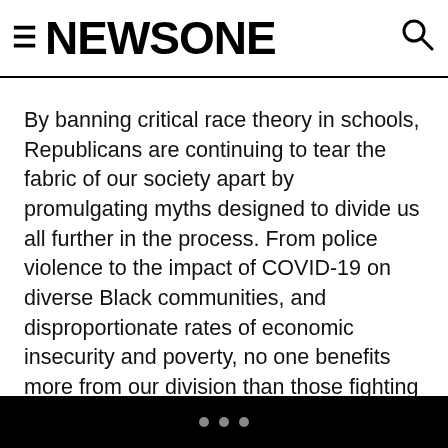NEWSONE
By banning critical race theory in schools, Republicans are continuing to tear the fabric of our society apart by promulgating myths designed to divide us all further in the process. From police violence to the impact of COVID-19 on diverse Black communities, and disproportionate rates of economic insecurity and poverty, no one benefits more from our division than those fighting to silence our collective history of oppression.
But the Republican party’s cynical attacks on critical race theory are just one part of an all-encompassing agenda.